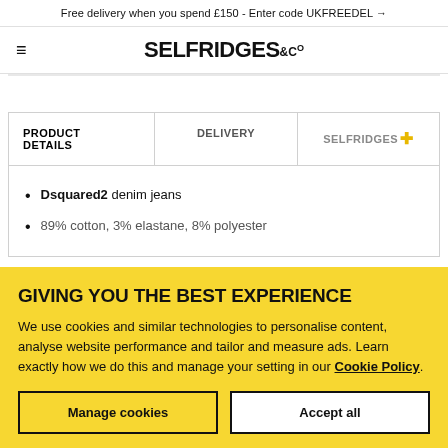Free delivery when you spend £150 - Enter code UKFREEDEL →
[Figure (logo): Selfridges & Co logo with hamburger menu icon on the left]
| PRODUCT DETAILS | DELIVERY | SELFRIDGES+ |
| --- | --- | --- |
Dsquared2 denim jeans
89% cotton, 3% elastane, 8% polyester
GIVING YOU THE BEST EXPERIENCE
We use cookies and similar technologies to personalise content, analyse website performance and tailor and measure ads. Learn exactly how we do this and manage your setting in our Cookie Policy.
Manage cookies | Accept all